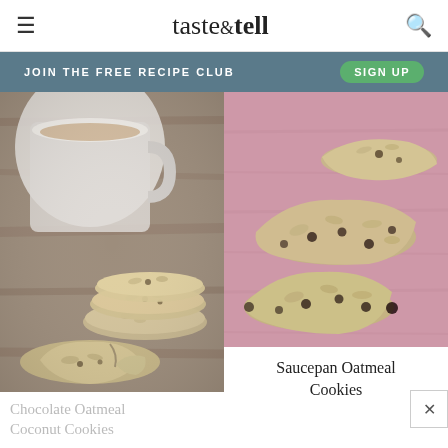taste & tell
JOIN THE FREE RECIPE CLUB  SIGN UP
[Figure (photo): Stack of chocolate oatmeal coconut cookies on a wooden surface with a white mug in the background; one cookie is broken in the foreground]
Chocolate Oatmeal Coconut Cookies
[Figure (photo): Saucepan oatmeal cookies with raisins stacked on a pink cloth background]
Saucepan Oatmeal Cookies